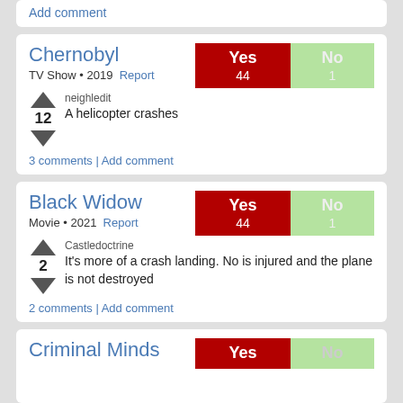Add comment
Chernobyl
TV Show • 2019 Report
neighledit
12  A helicopter crashes
3 comments | Add comment
Black Widow
Movie • 2021 Report
Castledoctrine
2  It's more of a crash landing. No is injured and the plane is not destroyed
2 comments | Add comment
Criminal Minds